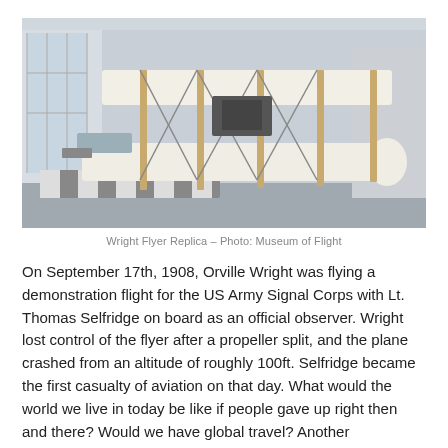[Figure (photo): Photo of a Wright Flyer replica displayed inside the Museum of Flight. The biplane is shown from the side, with white canvas wings, wooden struts, and metal wire bracing. A black-and-white striped ramp is visible on the floor beneath it. The museum interior is visible in the background.]
Wright Flyer Replica – Photo: Museum of Flight
On September 17th, 1908, Orville Wright was flying a demonstration flight for the US Army Signal Corps with Lt. Thomas Selfridge on board as an official observer. Wright lost control of the flyer after a propeller split, and the plane crashed from an altitude of roughly 100ft. Selfridge became the first casualty of aviation on that day. What would the world we live in today be like if people gave up right then and there? Would we have global travel? Another